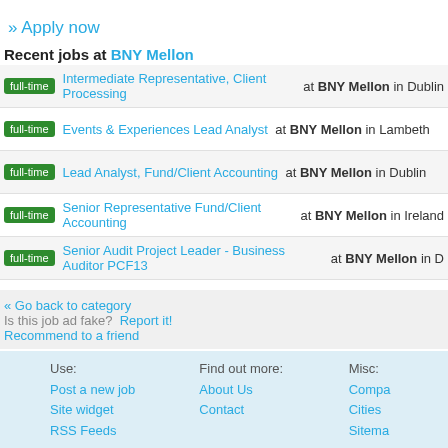» Apply now
Recent jobs at BNY Mellon
full-time  Intermediate Representative, Client Processing at BNY Mellon in Dublin
full-time  Events & Experiences Lead Analyst at BNY Mellon in Lambeth
full-time  Lead Analyst, Fund/Client Accounting at BNY Mellon in Dublin
full-time  Senior Representative Fund/Client Accounting at BNY Mellon in Ireland
full-time  Senior Audit Project Leader - Business Auditor PCF13 at BNY Mellon in D
« Go back to category
Is this job ad fake?  Report it!
Recommend to a friend
Use: Post a new job Site widget RSS Feeds | Find out more: About Us Contact | Misc: Compa Cities Sitema